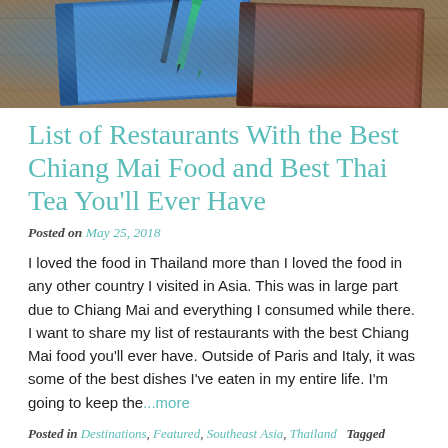[Figure (photo): Top banner photo of blue and brown leather notebooks/wallets with a green pen on a wooden surface]
List of Restaurants With the Best Chiang Mai Food and Best Thai Tea You'll Ever Have
Posted on May 25, 2018
I loved the food in Thailand more than I loved the food in any other country I visited in Asia. This was in large part due to Chiang Mai and everything I consumed while there. I want to share my list of restaurants with the best Chiang Mai food you'll ever have. Outside of Paris and Italy, it was some of the best dishes I've eaten in my entire life. I'm going to keep the...more
Posted in Destinations, Featured, Southeast Asia, Thailand   Tagged adventure, asia, backpacking, budget, chiang mai, thailand, travel, wanderlust   9 Comments